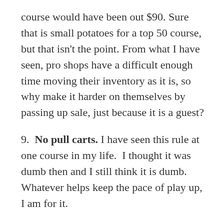course would have been out $90.  Sure that is small potatoes for a top 50 course, but that isn't the point.  From what I have seen, pro shops have a difficult enough time moving their inventory as it is, so why make it harder on themselves by passing up sale, just because it is a guest?
9.  No pull carts. I have seen this rule at one course in my life.  I thought it was dumb then and I still think it is dumb.  Whatever helps keep the pace of play up, I am for it.
10.  No cargo shorts or pants. I am not a huge fan of how cargo's look on the course, but I don't think they should be banned.  I don't typically wear cargo shorts on the course, but I have no issues with someone who does, especially someone who would just be considered a "recreational golfer".  I believe there are much worse things to worry about out there, such as fixing ball marks or replacing divots.  That is a whole other issue that will most certainly